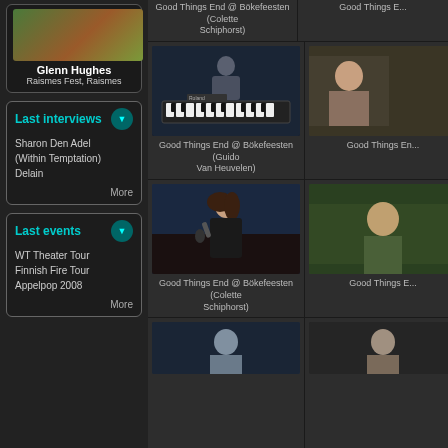[Figure (photo): Glenn Hughes photo thumbnail]
Glenn Hughes
Raismes Fest, Raismes
Last interviews
Sharon Den Adel (Within Temptation)
Delain
More
Last events
WT Theater Tour
Finnish Fire Tour
Appelpop 2008
More
Good Things End @ Bökefeesten (Colette Schiphorst)
Good Things E...
[Figure (photo): Keyboard player at Roland keyboard on stage - Good Things End @ Bökefeesten (Guido Van Heuvelen)]
[Figure (photo): Partial photo right side - Good Things En...]
Good Things End @ Bökefeesten (Guido Van Heuvelen)
Good Things En...
[Figure (photo): Female singer with microphone on outdoor stage - Good Things End @ Bökefeesten (Colette Schiphorst)]
[Figure (photo): Partial right photo - Good Things E...]
Good Things End @ Bökefeesten (Colette Schiphorst)
Good Things E...
[Figure (photo): Bottom row partial photo left]
[Figure (photo): Bottom row partial photo right]